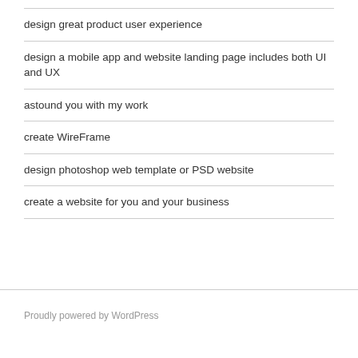design great product user experience
design a mobile app and website landing page includes both UI and UX
astound you with my work
create WireFrame
design photoshop web template or PSD website
create a website for you and your business
Proudly powered by WordPress